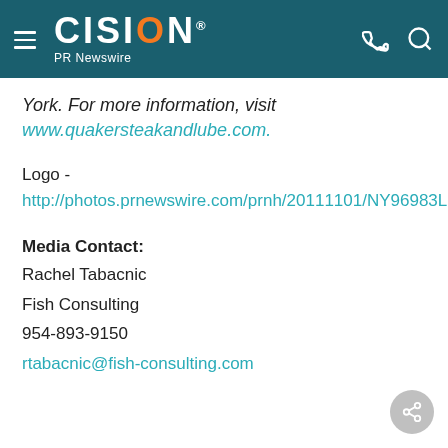CISION PR Newswire
York.  For more information, visit www.quakersteakandlube.com.
Logo - http://photos.prnewswire.com/prnh/20111101/NY96983LOGO
Media Contact: Rachel Tabacnic
Fish Consulting
954-893-9150
rtabacnic@fish-consulting.com